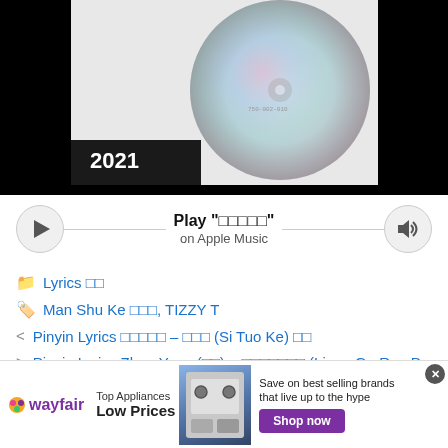[Figure (photo): Album artwork showing a CD disc on a white background with the year 2021 visible, displayed against a black background.]
Play "□□□□□" on Apple Music
Lyrics □□
Man Shu Ke □□□, TIZZY T
< Pinyin Lyrics □□□□□ – □□□ (Si Tuo Ke) □□
> Pinyin Lyrics Zhao Yang (□□) – □□□□□□□ (Liang Ge Ren De Guan Xi) □□
[Figure (photo): Wayfair advertisement banner: Top Appliances Low Prices, Save on best selling brands that live up to the hype. Shop now button.]